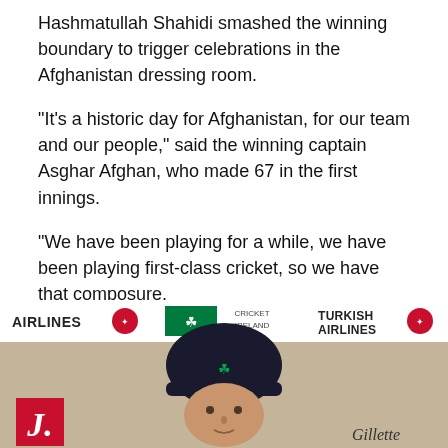Hashmatullah Shahidi smashed the winning boundary to trigger celebrations in the Afghanistan dressing room.
"It's a historic day for Afghanistan, for our team and our people," said the winning captain Asghar Afghan, who made 67 in the first innings.
"We have been playing for a while, we have been playing first-class cricket, so we have that composure.
"The bowlers were very good, Rashid (Khan), Yamin (Ahmadzai). Now we're going to South Africa for World Cup preparation. We will try our best to play good cricket."
[Figure (photo): Press conference photo of a cricketer wearing a dark navy cap with a green shamrock logo (Ireland cricket). Behind him is a sponsor backdrop showing AIRLINES, Cricket Ireland, TURKISH AIRLINES logos. In the bottom left is a red box with a white J letter. Bottom center shows a gold award/trophy logo. Bottom right shows Gillette branding.]